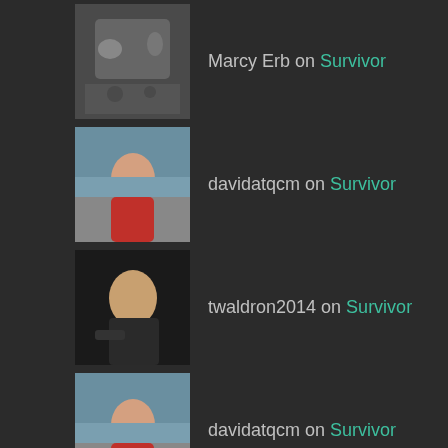Marcy Erb on Survivor
davidatqcm on Survivor
twaldron2014 on Survivor
davidatqcm on Survivor
ARCHIVES
June 2020
April 2020
March 2020